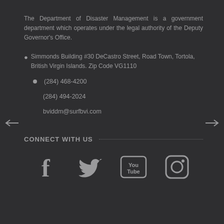The Department of Disaster Management is a government department which operates under the legal authority of the Deputy Governor's Office.
Simmonds Building #30 DeCastro Street, Road Town, Tortola, British Virgin Islands. Zip Code VG1110
(284) 468-4200
(284) 494-2024
bviddm@surfbvi.com
CONNECT WITH US
[Figure (illustration): Social media icons: Facebook, Twitter, YouTube, Instagram]